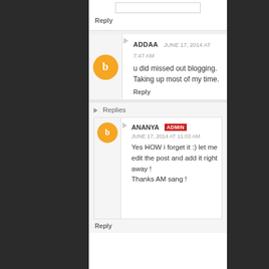Reply
ADDAA  JUNE 17, 2014 AT 7:47 AM
u did missed out blogging. Taking up most of my time.
Reply
Replies
ANANYA  ADMIN  JUNE 17, 2014 AT 11:03 AM
Yes HOW i forget it :) let me edit the post and add it right away !
Thanks AM sang !
Reply